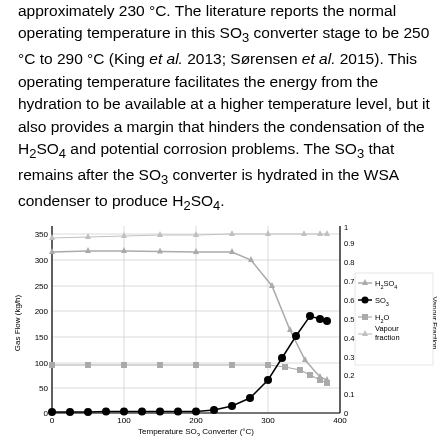approximately 230 °C. The literature reports the normal operating temperature in this SO3 converter stage to be 250 °C to 290 °C (King et al. 2013; Sørensen et al. 2015). This operating temperature facilitates the energy from the hydration to be available at a higher temperature level, but it also provides a margin that hinders the condensation of the H2SO4 and potential corrosion problems. The SO3 that remains after the SO3 converter is hydrated in the WSA condenser to produce H2SO4.
[Figure (continuous-plot): Line chart showing Gas Flow (kg/h) on left y-axis (0-350) and Vapour Fraction on right y-axis (0-1) versus Temperature SO3 Converter (°C) on x-axis (0-400). Four series: H2SO4 (triangle markers, starts ~300 kg/h, decreases sharply after ~250°C), SO3 (filled circle markers, near 0 then rises steeply after ~250°C to ~175 kg/h), H2O (square markers, flat ~90 kg/h then decreases slightly), Vapour fraction (light triangle markers, flat near ~340 then stable around 340).]